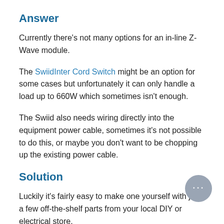Answer
Currently there’s not many options for an in-line Z-Wave module.
The SwiidInter Cord Switch might be an option for some cases but unfortunately it can only handle a load up to 660W which sometimes isn’t enough.
The Swiid also needs wiring directly into the equipment power cable, sometimes it’s not possible to do this, or maybe you don’t want to be chopping up the existing power cable.
Solution
Luckily it’s fairly easy to make one yourself with just a few off-the-shelf parts from your local DIY or electrical store.
The example shown below is ideal for use in-line with a mini-